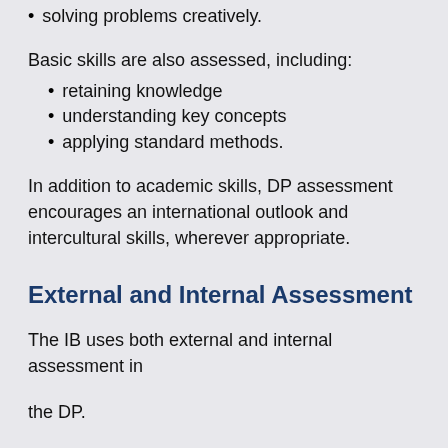solving problems creatively.
Basic skills are also assessed, including:
retaining knowledge
understanding key concepts
applying standard methods.
In addition to academic skills, DP assessment encourages an international outlook and intercultural skills, wherever appropriate.
External and Internal Assessment
The IB uses both external and internal assessment in the DP.
External Assessment (May of Senior year)
Examinations form the basis of the assessment for